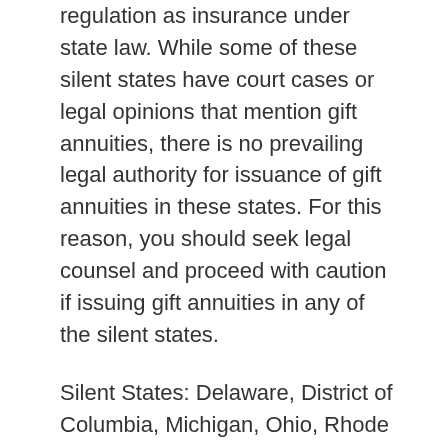regulation as insurance under state law. While some of these silent states have court cases or legal opinions that mention gift annuities, there is no prevailing legal authority for issuance of gift annuities in these states. For this reason, you should seek legal counsel and proceed with caution if issuing gift annuities in any of the silent states.
Silent States: Delaware, District of Columbia, Michigan, Ohio, Rhode Island, Wyoming.
Conclusion
Reasonable regulation is generally positive for charities. The regulatory landscape has...